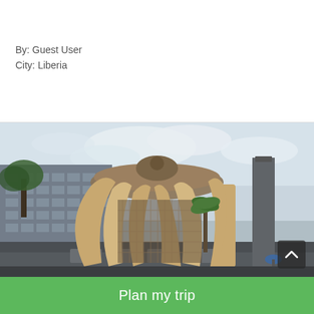By: Guest User
City: Liberia
[Figure (photo): Photograph of a large domed pavilion or bandstand structure with curved concrete arches forming a crown-like shape, painted in golden/tan color. A modern multi-story building is visible on the left side. Palm trees and overcast sky in background. A tall concrete monolith/obelisk is on the right. People and vehicles faintly visible at ground level.]
Plan my trip